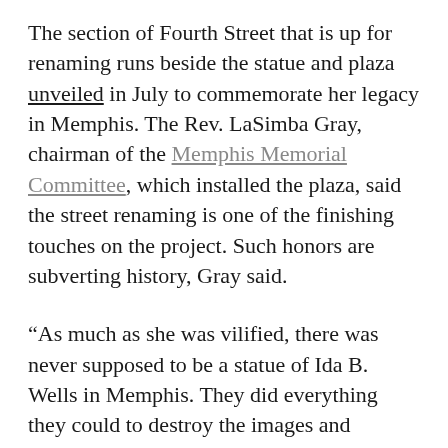The section of Fourth Street that is up for renaming runs beside the statue and plaza unveiled in July to commemorate her legacy in Memphis. The Rev. LaSimba Gray, chairman of the Memphis Memorial Committee, which installed the plaza, said the street renaming is one of the finishing touches on the project. Such honors are subverting history, Gray said.
“As much as she was vilified, there was never supposed to be a statue of Ida B. Wells in Memphis. They did everything they could to destroy the images and symbols of African American leaders.”